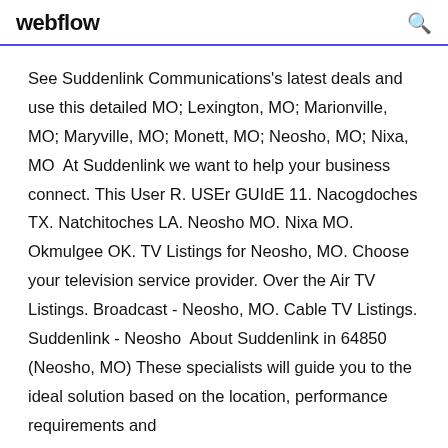webflow
See Suddenlink Communications's latest deals and use this detailed MO; Lexington, MO; Marionville, MO; Maryville, MO; Monett, MO; Neosho, MO; Nixa, MO  At Suddenlink we want to help your business connect. This User R. USEr GUIdE 11. Nacogdoches TX. Natchitoches LA. Neosho MO. Nixa MO. Okmulgee OK. TV Listings for Neosho, MO. Choose your television service provider. Over the Air TV Listings. Broadcast - Neosho, MO. Cable TV Listings. Suddenlink - Neosho  About Suddenlink in 64850 (Neosho, MO) These specialists will guide you to the ideal solution based on the location, performance requirements and